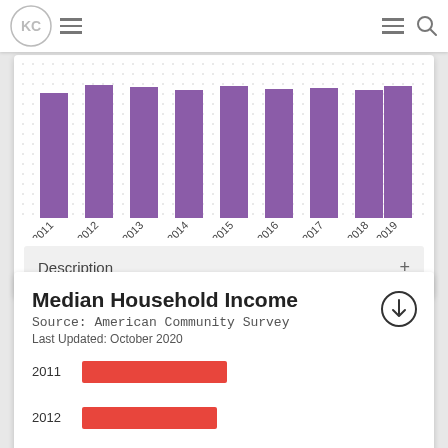KC [logo] [navigation]
[Figure (bar-chart): ]
Description +
Median Household Income
Source: American Community Survey
Last Updated: October 2020
[Figure (bar-chart): Median Household Income]